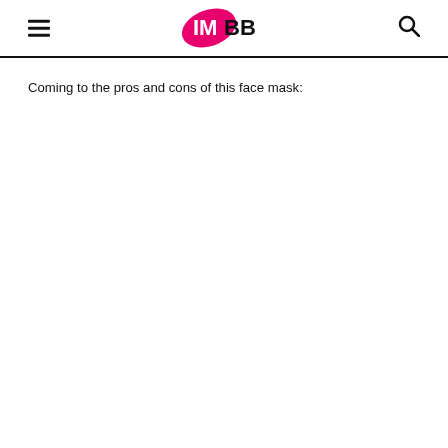IMBB
Coming to the pros and cons of this face mask: